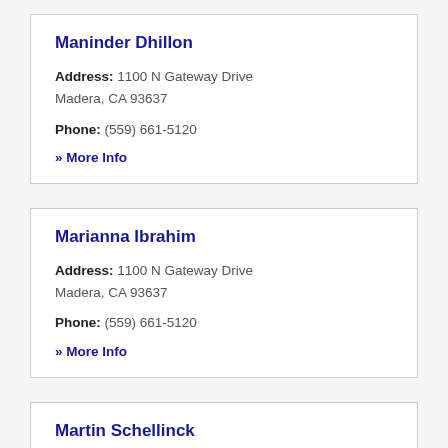Maninder Dhillon
Address: 1100 N Gateway Drive
Madera, CA 93637
Phone: (559) 661-5120
» More Info
Marianna Ibrahim
Address: 1100 N Gateway Drive
Madera, CA 93637
Phone: (559) 661-5120
» More Info
Martin Schellinck